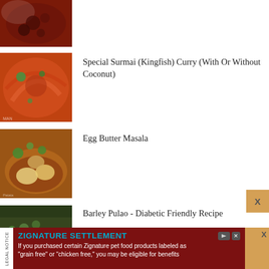[Figure (photo): Partial view of a dark reddish-brown meat curry dish in a white bowl, cropped at top]
[Figure (photo): Close-up of Surmai (Kingfish) Curry with orange-red sauce and fish pieces with coriander garnish]
Special Surmai (Kingfish) Curry (With Or Without Coconut)
[Figure (photo): Egg Butter Masala dish with eggs in a reddish-orange curry sauce with green herb garnish]
Egg Butter Masala
[Figure (photo): Barley Pulao dish with grains and green herb garnish, diabetic friendly]
Barley Pulao - Diabetic Friendly Recipe
LEGAL NOTICE | ZIGNATURE SETTLEMENT If you purchased certain Zignature pet food products labeled as "grain free" or "chicken free," you may be eligible for benefits